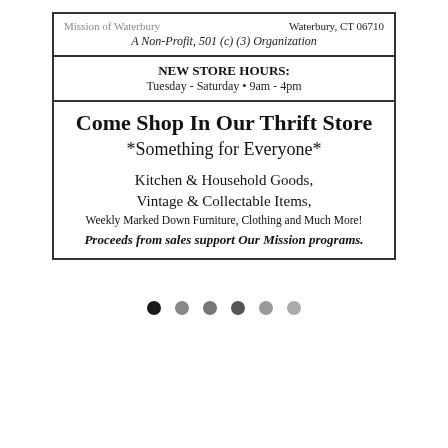Mission of Waterbury    Waterbury, CT  06710
A Non-Profit, 501 (c) (3) Organization
NEW STORE HOURS:
Tuesday - Saturday • 9am - 4pm
Come Shop In Our Thrift Store
*Something for Everyone*
Kitchen & Household Goods,
Vintage & Collectable Items,
Weekly Marked Down Furniture, Clothing and Much More!
Proceeds from sales support Our Mission programs.
[Figure (other): Pagination dots: six circles in a row, first one dark/filled, rest progressively lighter gray]